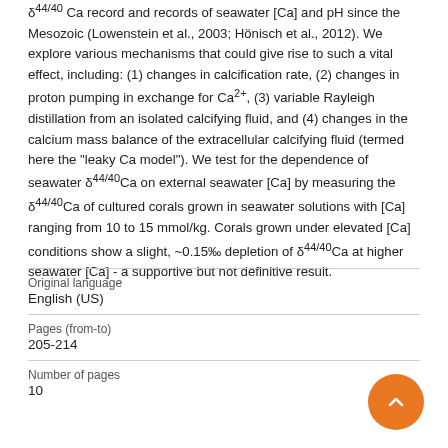δ44/40 Ca record and records of seawater [Ca] and pH since the Mesozoic (Lowenstein et al., 2003; Hönisch et al., 2012). We explore various mechanisms that could give rise to such a vital effect, including: (1) changes in calcification rate, (2) changes in proton pumping in exchange for Ca2+, (3) variable Rayleigh distillation from an isolated calcifying fluid, and (4) changes in the calcium mass balance of the extracellular calcifying fluid (termed here the "leaky Ca model"). We test for the dependence of seawater δ44/40Ca on external seawater [Ca] by measuring the δ44/40Ca of cultured corals grown in seawater solutions with [Ca] ranging from 10 to 15 mmol/kg. Corals grown under elevated [Ca] conditions show a slight, ~0.15‰ depletion of δ44/40Ca at higher seawater [Ca] - a supportive but not definitive result.
| Field | Value |
| --- | --- |
| Original language | English (US) |
| Pages (from-to) | 205-214 |
| Number of pages | 10 |